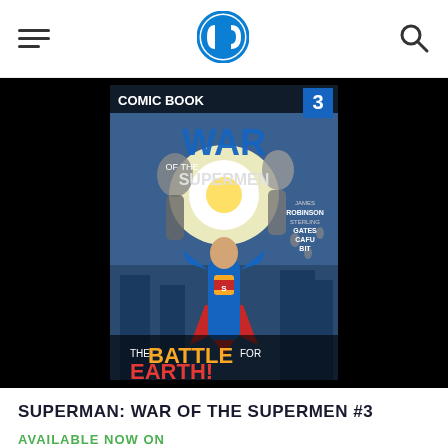DC Comics navigation header with hamburger menu, DC logo, and search icon
[Figure (illustration): Comic book cover for Superman: War of the Supermen #3. Shows Superman in blue costume flying upward toward a bright energy explosion, with multiple Kryptonian figures in battle. Text on cover reads: COMIC BOOK, WAR OF THE SUPERMEN, 3, JAMES ROBINSON, STERLING GATES, CAFU, BIT, THE BATTLE FOR EARTH!]
SUPERMAN: WAR OF THE SUPERMEN #3
AVAILABLE NOW ON